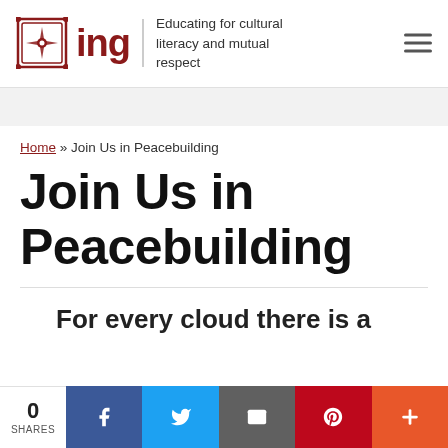ING — Educating for cultural literacy and mutual respect
Home » Join Us in Peacebuilding
Join Us in Peacebuilding
For every cloud there is a